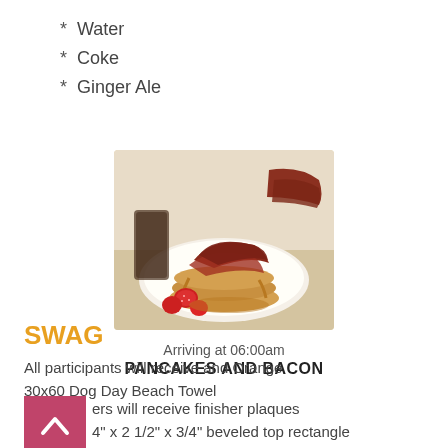* Water
* Coke
* Ginger Ale
[Figure (photo): A plate of pancakes topped with bacon strips and strawberries, with syrup on the side]
Arriving at 06:00am
PANCAKES AND BACON
SWAG
All participants will receive and Orange 30x60 Dog Day Beach Towel
All finishers will receive finisher plaques 4" x 2 1/2" x 3/4" beveled top rectangle